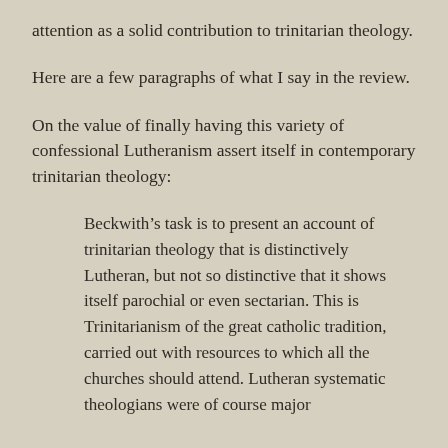attention as a solid contribution to trinitarian theology.
Here are a few paragraphs of what I say in the review.
On the value of finally having this variety of confessional Lutheranism assert itself in contemporary trinitarian theology:
Beckwith’s task is to present an account of trinitarian theology that is distinctively Lutheran, but not so distinctive that it shows itself parochial or even sectarian. This is Trinitarianism of the great catholic tradition, carried out with resources to which all the churches should attend. Lutheran systematic theologians were of course major